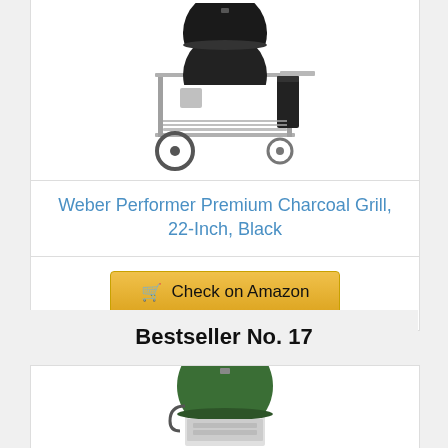[Figure (photo): Weber Performer Premium Charcoal Grill product image showing a black kettle grill on a wheeled cart with a side table and trash can holder]
Weber Performer Premium Charcoal Grill, 22-Inch, Black
Check on Amazon
Bestseller No. 17
[Figure (photo): Green charcoal kettle grill product image, partial view showing top portion of the grill]